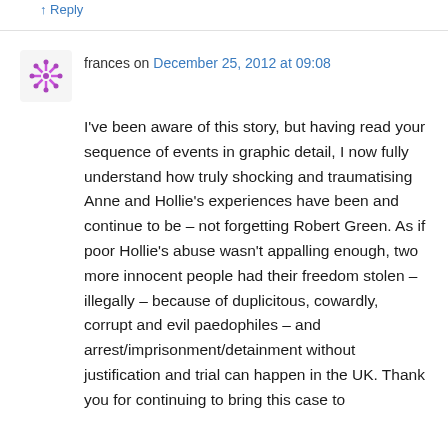↑ Reply
frances on December 25, 2012 at 09:08
I've been aware of this story, but having read your sequence of events in graphic detail, I now fully understand how truly shocking and traumatising Anne and Hollie's experiences have been and continue to be – not forgetting Robert Green. As if poor Hollie's abuse wasn't appalling enough, two more innocent people had their freedom stolen – illegally – because of duplicitous, cowardly, corrupt and evil paedophiles – and arrest/imprisonment/detainment without justification and trial can happen in the UK. Thank you for continuing to bring this case to